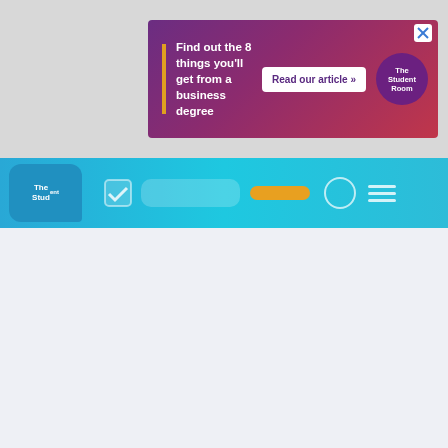[Figure (screenshot): Advertisement banner for The Student Room: 'Find out the 8 things you'll get from a business degree' with 'Read our article »' button and The Student Room logo on a purple/maroon gradient background]
[Figure (screenshot): The Student Room website navigation bar in teal/blue with logo, check icon, navigation tabs including an orange active button, search icon, and hamburger menu icon]
[Figure (screenshot): Light gray/blue website content area with a dark blue chevron/down arrow on the right side]